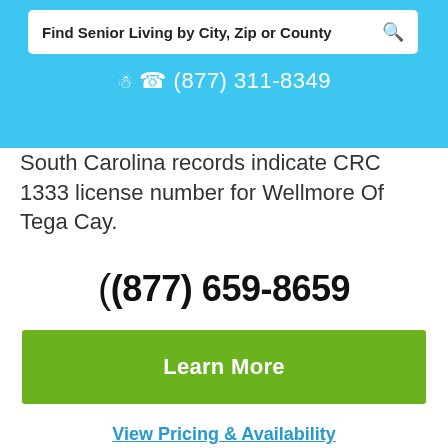Find Senior Living by City, Zip or County  (877) 311-8349
South Carolina records indicate CRC 1333 license number for Wellmore Of Tega Cay.
(877) 659-8659
Learn More
View Pricing & Availability
CROSSROADS AT CATAWBA
Located at 400 Rowells Rd in York county, Crossroads At Catawba enables pet owners in